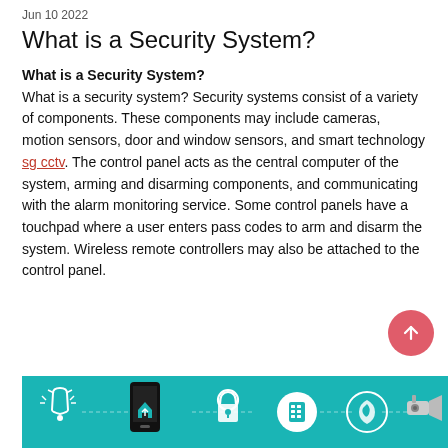Jun 10 2022
What is a Security System?
What is a Security System?
What is a security system? Security systems consist of a variety of components. These components may include cameras, motion sensors, door and window sensors, and smart technology sg cctv. The control panel acts as the central computer of the system, arming and disarming components, and communicating with the alarm monitoring service. Some control panels have a touchpad where a user enters pass codes to arm and disarm the system. Wireless remote controllers may also be attached to the control panel.
[Figure (illustration): Teal infographic banner showing security system components including alarm bell, smartphone, padlock, calculator/keypad, shield icon, and CCTV camera with dashed connecting lines on teal background.]